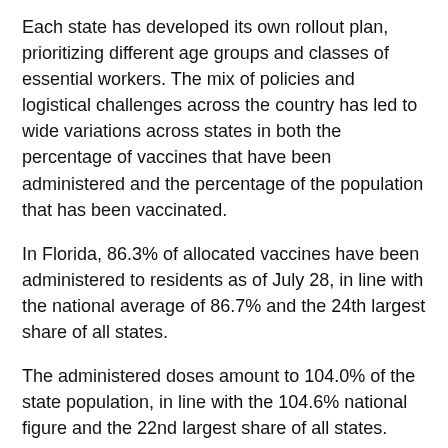Each state has developed its own rollout plan, prioritizing different age groups and classes of essential workers. The mix of policies and logistical challenges across the country has led to wide variations across states in both the percentage of vaccines that have been administered and the percentage of the population that has been vaccinated.
In Florida, 86.3% of allocated vaccines have been administered to residents as of July 28, in line with the national average of 86.7% and the 24th largest share of all states.
The administered doses amount to 104.0% of the state population, in line with the 104.6% national figure and the 22nd largest share of all states.
While a majority of Americans remain unvaccinated due to a lack of supply, there are some who have no plans to receive a vaccine at all. According to a survey from the U.S. Census Bureau, 45.8% of U.S. adults 18 and over who have not yet received the vaccine